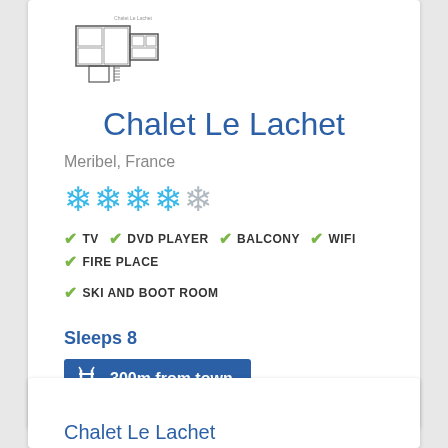[Figure (engineering-diagram): Floor plan schematic of Chalet Le Lachet showing room layout]
Chalet Le Lachet
Meribel, France
[Figure (infographic): 5-star rating with 4 blue snowflake stars and 1 grey snowflake star]
TV
DVD PLAYER
BALCONY
WIFI
FIRE PLACE
SKI AND BOOT ROOM
Sleeps 8
300m from town